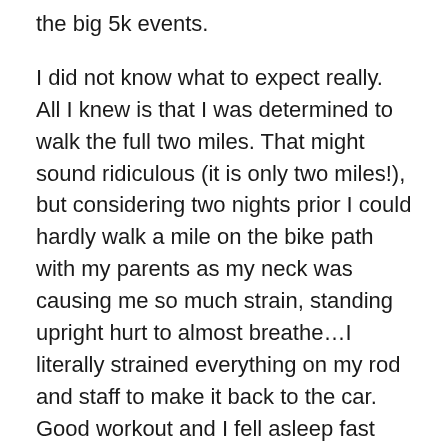the big 5k events.
I did not know what to expect really. All I knew is that I was determined to walk the full two miles. That might sound ridiculous (it is only two miles!), but considering two nights prior I could hardly walk a mile on the bike path with my parents as my neck was causing me so much strain, standing upright hurt to almost breathe…I literally strained everything on my rod and staff to make it back to the car. Good workout and I fell asleep fast that night when I got in bed, but I quickly reminded myself that there was a reason why I exercised in the morning rather than the evening: my body has more energy, better posture, better mental determination. I have to admit, I like being a morning person. 🙂
I get nervous when I walk around a crowd with my rod and